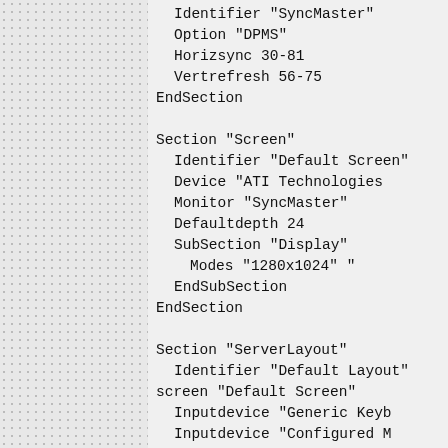Identifier "SyncMaster"
    Option    "DPMS"
    Horizsync  30-81
    Vertrefresh  56-75
EndSection

Section "Screen"
    Identifier   "Default Screen"
    Device     "ATI Technologies"
    Monitor    "SyncMaster"
    Defaultdepth  24
    SubSection "Display"
        Modes    "1280x1024" "..."
    EndSubSection
EndSection

Section "ServerLayout"
    Identifier   "Default Layout"
    screen "Default Screen"
    Inputdevice   "Generic Keyb..."
    Inputdevice   "Configured M..."

    # Uncomment if you have a...
    #   InputDevice    "stylus"
    #   InputDevice    "cursor"